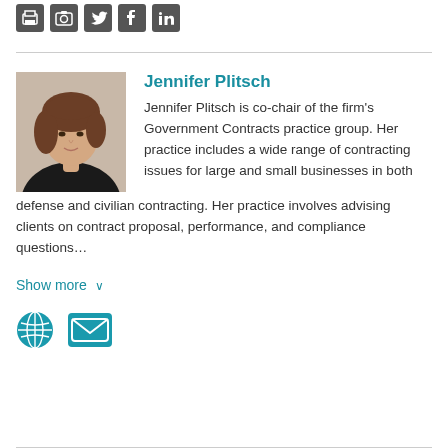[Figure (other): Social media icon buttons: printer, camera/instagram, twitter, facebook, linkedin]
Jennifer Plitsch is co-chair of the firm's Government Contracts practice group. Her practice includes a wide range of contracting issues for large and small businesses in both defense and civilian contracting. Her practice involves advising clients on contract proposal, performance, and compliance questions…
Show more ∨
[Figure (other): Globe icon and envelope/mail icon in teal color]